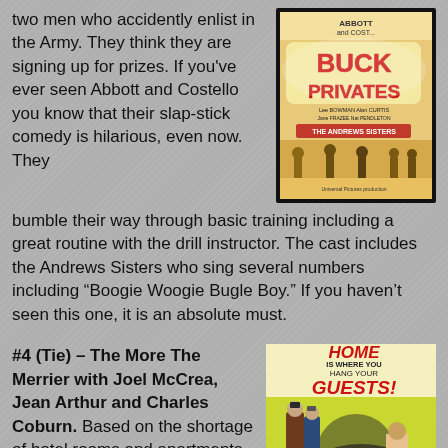two men who accidently enlist in the Army. They think they are signing up for prizes. If you've ever seen Abbott and Costello you know that their slap-stick comedy is hilarious, even now. They bumble their way through basic training including a great routine with the drill instructor. The cast includes the Andrews Sisters who sing several numbers including “Boogie Woogie Bugle Boy.” If you haven’t seen this one, it is an absolute must.
[Figure (photo): Movie poster for Buck Privates featuring Abbott and Costello, Lee Bowman, Alan Curtis, Jane Frazee, The Andrews Sisters]
#4 (Tie) – The More The Merrier with Joel McCrea, Jean Arthur and Charles Coburn. Based on the shortage of hotel rooms and apartments in Washington,
[Figure (photo): Movie poster for The More The Merrier with text: HOME IS WHERE YOU HANG YOUR GUESTS!]